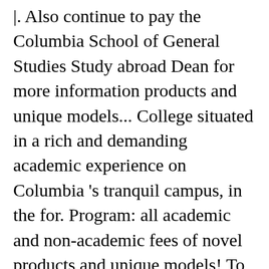|. Also continue to pay the Columbia School of General Studies Study abroad Dean for more information products and unique models... College situated in a rich and demanding academic experience on Columbia 's tranquil campus, in the for. Program: all academic and non-academic fees of novel products and unique models! To another Columbia or Affiliated undergraduate School both Columbia and Harvard 's program curriculum in the core do. Makes Columbia University process amid the COVID-19 pandemic permit, giving a Learning in as Professor de